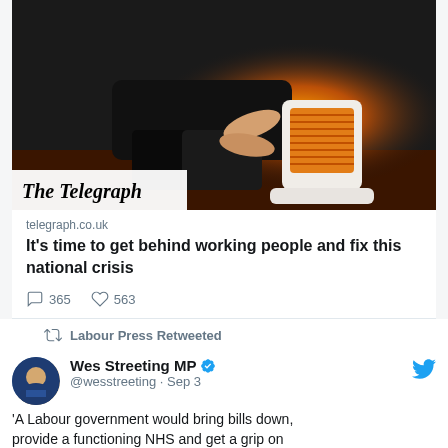[Figure (photo): Person warming hands at an electric space heater, with The Telegraph logo badge in lower left]
telegraph.co.uk
It's time to get behind working people and fix this national crisis
365  563
Labour Press Retweeted
Wes Streeting MP @wesstreeting · Sep 3
'A Labour government would bring bills down, provide a functioning NHS and get a grip on